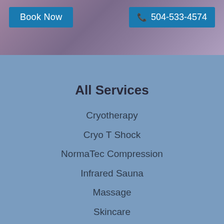Book Now | 504-533-4574
All Services
Cryotherapy
Cryo T Shock
NormaTec Compression
Infrared Sauna
Massage
Skincare
Explore
Products